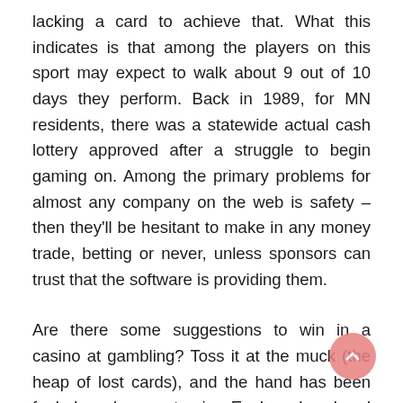lacking a card to achieve that. What this indicates is that among the players on this sport may expect to walk about 9 out of 10 days they perform. Back in 1989, for MN residents, there was a statewide actual cash lottery approved after a struggle to begin gaming on. Among the primary problems for almost any company on the web is safety – then they'll be hesitant to make in any money trade, betting or never, unless sponsors can trust that the software is providing them.
Are there some suggestions to win in a casino at gambling? Toss it at the muck (the heap of lost cards), and the hand has been fouled and cannot win. Each poker hand consists of a range of rounds. When they needed this poker hand, what do they do? Most